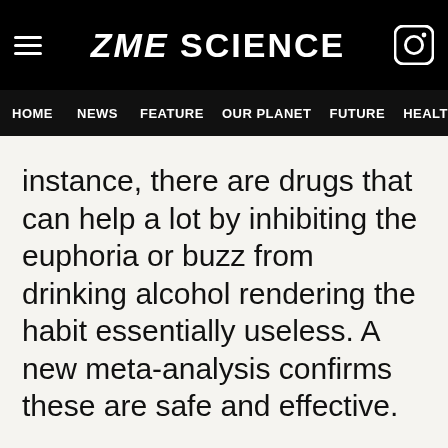ZME SCIENCE
HOME NEWS FEATURE OUR PLANET FUTURE HEALT
instance, there are drugs that can help a lot by inhibiting the euphoria or buzz from drinking alcohol rendering the habit essentially useless. A new meta-analysis confirms these are safe and effective.